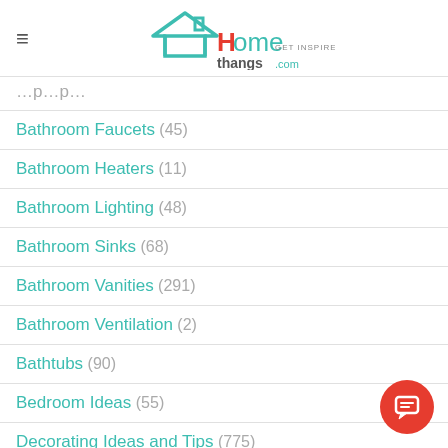Homethangs.com — GET INSPIRED, EVERYTHING FOR HOME
Bathroom Faucets (45)
Bathroom Heaters (11)
Bathroom Lighting (48)
Bathroom Sinks (68)
Bathroom Vanities (291)
Bathroom Ventilation (2)
Bathtubs (90)
Bedroom Ideas (55)
Decorating Ideas and Tips (775)
Dining Room Furniture and Decor (54)